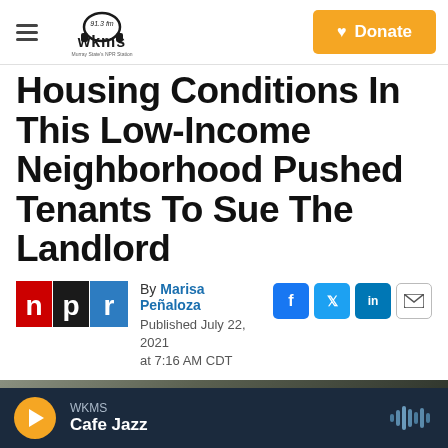WKMS 91.3 fm — Murray State's NPR Station | Donate
Housing Conditions In This Low-Income Neighborhood Pushed Tenants To Sue The Landlord
By Marisa Peñaloza
Published July 22, 2021 at 7:16 AM CDT
[Figure (photo): NPR logo and social sharing icons (Facebook, Twitter, LinkedIn, Email)]
[Figure (photo): Partial photo of housing, bottom portion visible]
WKMS Cafe Jazz — audio player bar